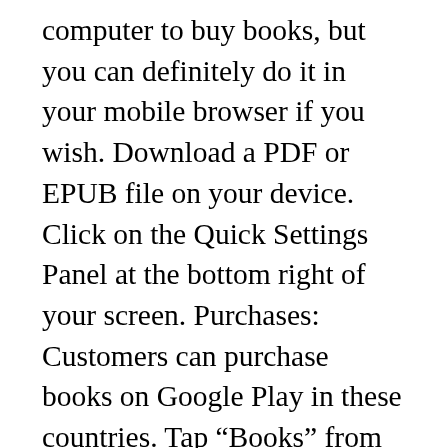computer to buy books, but you can definitely do it in your mobile browser if you wish. Download a PDF or EPUB file on your device. Click on the Quick Settings Panel at the bottom right of your screen. Purchases: Customers can purchase books on Google Play in these countries. Tap “Books” from the upper right-hand area of the application screen to view the listings of eBooks currently available on Google Play. Your rental period starts when you make your purchase, even if you haven’t opened the book. Get your music, movies, TV, news, books, magazines, apps and games all in one place, instantly on your phone, tablet, computer or TV. It’s the two-toned blue ... On your Android